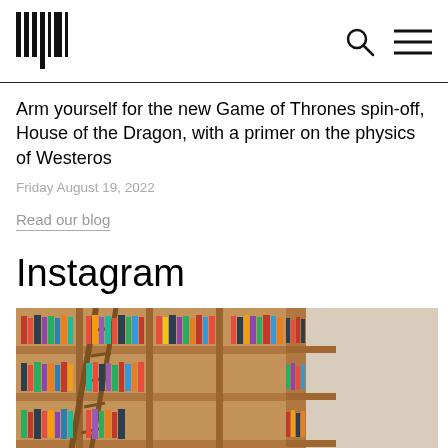[Logo and navigation icons: search, menu]
Arm yourself for the new Game of Thrones spin-off, House of the Dragon, with a primer on the physics of Westeros
Friday August 19, 2022
Read our blog
Instagram
[Figure (photo): Photo of a large wooden bookshelf filled with books, viewed at an angle, with recessed ceiling lights visible on the right side.]